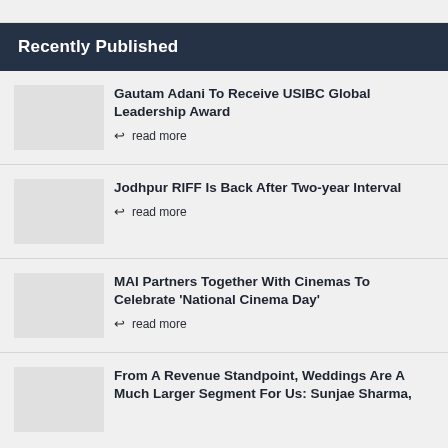Recently Published
Gautam Adani To Receive USIBC Global Leadership Award
read more
Jodhpur RIFF Is Back After Two-year Interval
read more
MAI Partners Together With Cinemas To Celebrate 'National Cinema Day'
read more
From A Revenue Standpoint, Weddings Are A Much Larger Segment For Us: Sunjae Sharma,